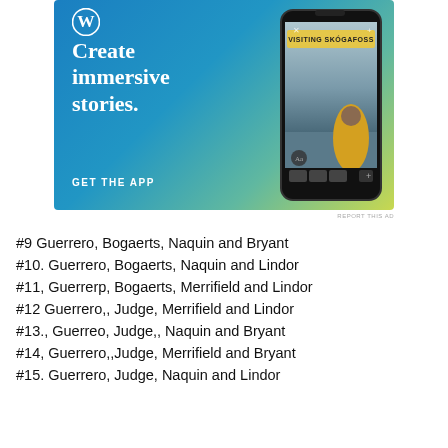[Figure (screenshot): WordPress app advertisement banner with blue-to-yellow gradient background, WordPress logo, text 'Create immersive stories.' and 'GET THE APP', alongside a phone mockup showing a waterfall story titled 'VISITING SKÓGAFOSS']
#9 Guerrero, Bogaerts, Naquin and Bryant
#10. Guerrero, Bogaerts, Naquin and Lindor
#11, Guerrerp, Bogaerts, Merrifield and Lindor
#12 Guerrero,, Judge, Merrifield and Lindor
#13., Guerreo, Judge,, Naquin and Bryant
#14, Guerrero,,Judge, Merrifield and Bryant
#15. Guerrero, Judge, Naquin and Lindor